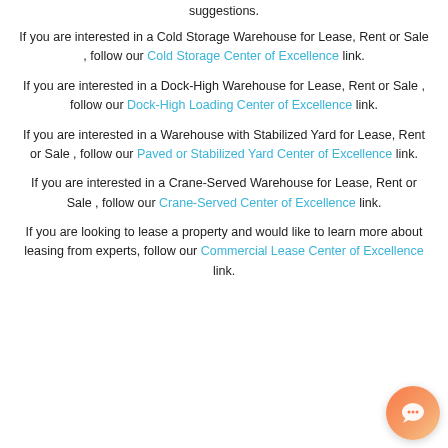suggestions.
If you are interested in a Cold Storage Warehouse for Lease, Rent or Sale , follow our Cold Storage Center of Excellence link.
If you are interested in a Dock-High Warehouse for Lease, Rent or Sale , follow our Dock-High Loading Center of Excellence link.
If you are interested in a Warehouse with Stabilized Yard for Lease, Rent or Sale , follow our Paved or Stabilized Yard Center of Excellence link.
If you are interested in a Crane-Served Warehouse for Lease, Rent or Sale , follow our Crane-Served Center of Excellence link.
If you are looking to lease a property and would like to learn more about leasing from experts, follow our Commercial Lease Center of Excellence link.